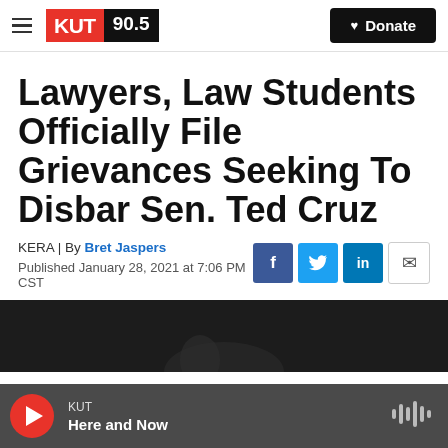KUT 90.5 | Donate
Lawyers, Law Students Officially File Grievances Seeking To Disbar Sen. Ted Cruz
KERA | By Bret Jaspers
Published January 28, 2021 at 7:06 PM CST
[Figure (photo): Dark image strip below article header, partial photo visible]
KUT Here and Now (audio player bar)